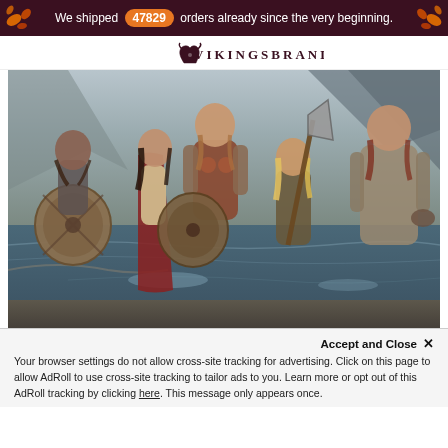We shipped 47829 orders already since the very beginning.
[Figure (logo): VikingsBrand logo with decorative Viking icon and stylized text]
[Figure (photo): Group of five Viking warriors in medieval Norse costumes with shields, axes, and chainmail, wading through water with dramatic rocky landscape in background]
Accept and Close ✕
Your browser settings do not allow cross-site tracking for advertising. Click on this page to allow AdRoll to use cross-site tracking to tailor ads to you. Learn more or opt out of this AdRoll tracking by clicking here. This message only appears once.